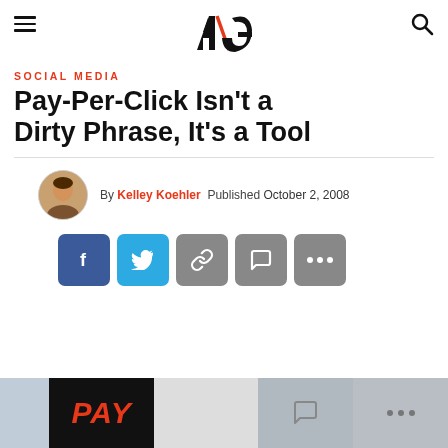ANG (logo) — navigation header with hamburger menu and search icon
SOCIAL MEDIA
Pay-Per-Click Isn't a Dirty Phrase, It's a Tool
By Kelley Koehler  Published October 2, 2008
[Figure (infographic): Row of five social share buttons: Facebook (blue), Twitter (cyan), Link/Copy (grey), Comment (grey), More (grey ellipsis, grey)]
[Figure (photo): Bottom image strip showing partial article header image with pink/magenta text reading PAY on dark background]